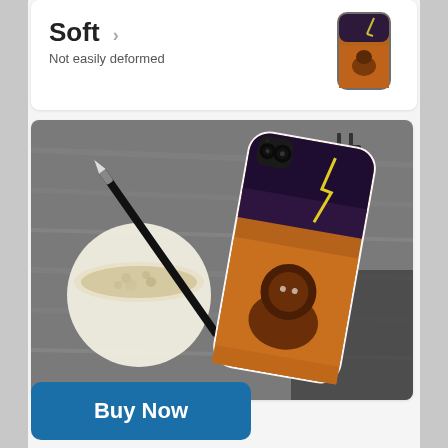Soft
Not easily deformed
[Figure (photo): Product lifestyle photo: phone case with lion design on a wooden desk alongside a coffee cup, pen, and binder clips.]
Buy Now